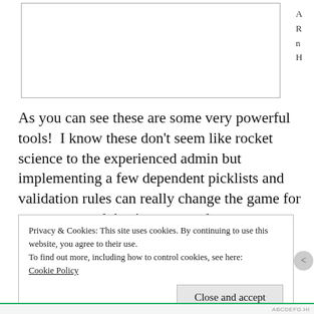[Figure (screenshot): Top portion of a text input box or editor widget, partially visible, with a right sidebar showing partial text characters A, R, n, H]
As you can see these are some very powerful tools!  I know these don't seem like rocket science to the experienced admin but implementing a few dependent picklists and validation rules can really change the game for your users and they're a great place to start improving a Salesforce org for a newer admin.  Next in our series we'll take a look at Assignment Rules!
Privacy & Cookies: This site uses cookies. By continuing to use this website, you agree to their use.
To find out more, including how to control cookies, see here:
Cookie Policy
Close and accept